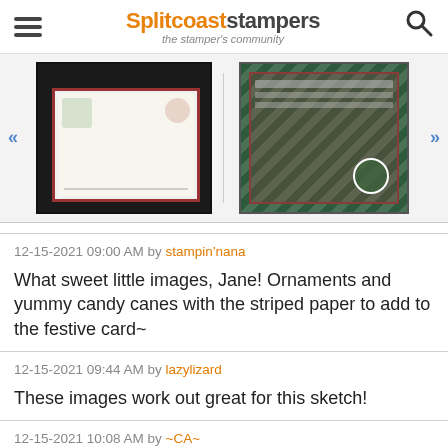Splitcoaststampers — the stamper's community
[Figure (photo): Two holiday/Christmas greeting cards shown in a gallery viewer. Left card shows snowmen and Christmas ornaments with red border. Right card shows striped green/red pattern with text and circular embellishments. Navigation arrows on both sides.]
12-15-2021 09:00 AM by stampin'nana
What sweet little images, Jane! Ornaments and yummy candy canes with the striped paper to add to the festive card~
12-15-2021 09:44 AM by lazylizard
These images work out great for this sketch!
12-15-2021 10:08 AM by ~CA~
You did the sketch perfectly! Love the images you